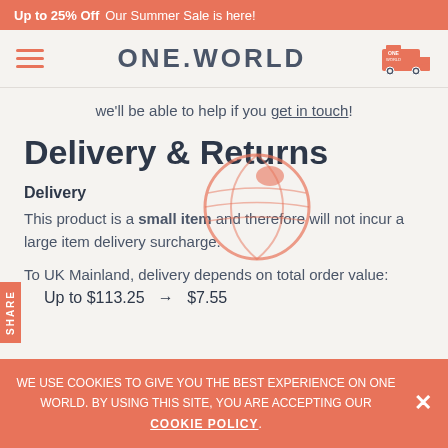Up to 25% Off  Our Summer Sale is here!
[Figure (logo): ONE.WORLD logo with hamburger menu and delivery truck icon]
we'll be able to help if you get in touch!
Delivery & Returns
[Figure (illustration): Globe/world circle icon watermark in coral/salmon color]
Delivery
This product is a small item and therefore will not incur a large item delivery surcharge.
To UK Mainland, delivery depends on total order value:
Up to $113.25  →  $7.55
WE USE COOKIES TO GIVE YOU THE BEST EXPERIENCE ON ONE WORLD. BY USING THIS SITE, YOU ARE ACCEPTING OUR COOKIE POLICY.